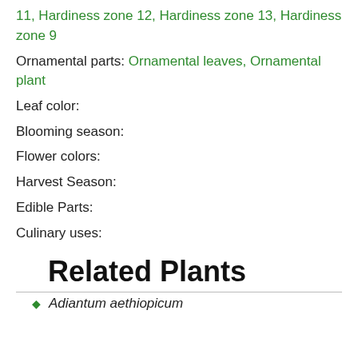11, Hardiness zone 12, Hardiness zone 13, Hardiness zone 9
Ornamental parts: Ornamental leaves, Ornamental plant
Leaf color:
Blooming season:
Flower colors:
Harvest Season:
Edible Parts:
Culinary uses:
Related Plants
Adiantum aethiopicum